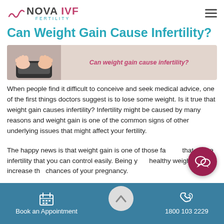NOVA IVF FERTILITY
Can Weight Gain Cause Infertility?
[Figure (photo): Hero banner image showing feet on a weighing scale on the left side against a beige/tan background, with italic caption text reading 'Can weight gain cause infertility?' on the right side.]
When people find it difficult to conceive and seek medical advice, one of the first things doctors suggest is to lose some weight. Is it true that weight gain causes infertility? Infertility might be caused by many reasons and weight gain is one of the common signs of other underlying issues that might affect your fertility.
The happy news is that weight gain is one of those factors that cause infertility that you can control easily. Being your healthy weight will increase the chances of your pregnancy.
Book an Appointment   1800 103 2229